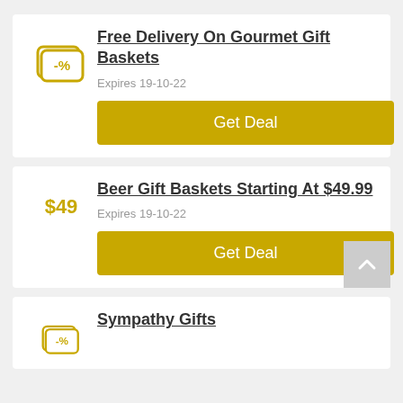[Figure (illustration): Yellow coupon/discount tag icon with -% symbol]
Free Delivery On Gourmet Gift Baskets
Expires 19-10-22
Get Deal
$49
Beer Gift Baskets Starting At $49.99
Expires 19-10-22
Get Deal
Sympathy Gifts
[Figure (illustration): Yellow coupon/discount tag icon with -% symbol (partial)]